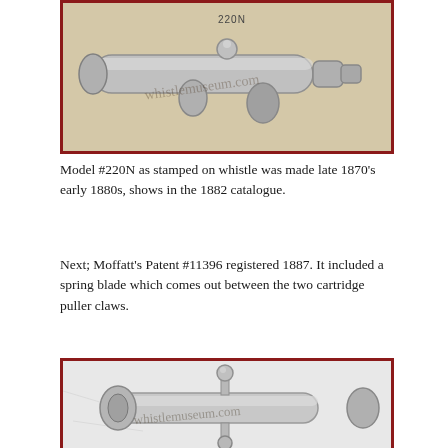[Figure (photo): Photograph of a metal whistle tool (Model #220N) with cylindrical barrel and cartridge puller claws, shown horizontally. Watermark reads 'whistlemuseum.com'. Framed in dark red border.]
Model #220N as stamped on whistle was made late 1870’s early 1880s, shows in the 1882 catalogue.
Next; Moffatt’s Patent #11396 registered 1887. It included a spring blade which comes out between the two cartridge puller claws.
[Figure (photo): Photograph of a metal whistle/tool (Moffatt’s Patent #11396) with cylindrical barrel and cartridge puller claws, shown from a slightly different angle. Watermark reads 'whistlemuseum.com'. Framed in dark red border.]